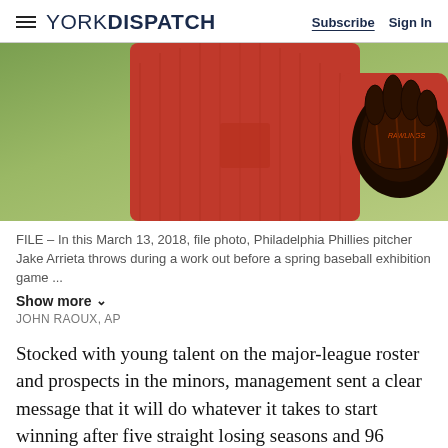YORK DISPATCH | Subscribe | Sign In
[Figure (photo): A baseball player in a red long-sleeve shirt holding a Rawlings catcher's glove, photographed from torso down, outdoors with green grass background.]
FILE – In this March 13, 2018, file photo, Philadelphia Phillies pitcher Jake Arrieta throws during a work out before a spring baseball exhibition game ...
Show more
JOHN RAOUX, AP
Stocked with young talent on the major-league roster and prospects in the minors, management sent a clear message that it will do whatever it takes to start winning after five straight losing seasons and 96 losses last year.